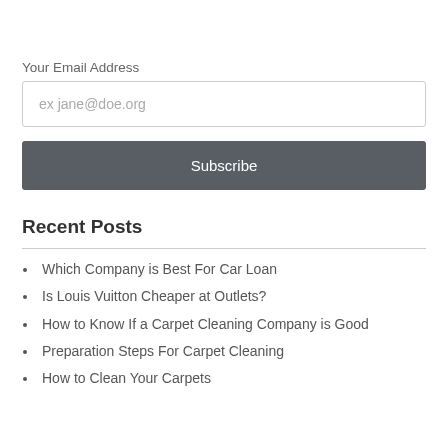Your Email Address
ex jane@doe.org
Subscribe
Recent Posts
Which Company is Best For Car Loan
Is Louis Vuitton Cheaper at Outlets?
How to Know If a Carpet Cleaning Company is Good
Preparation Steps For Carpet Cleaning
How to Clean Your Carpets